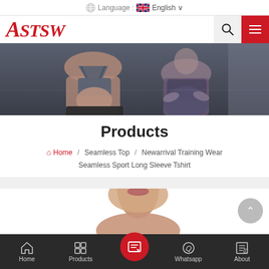Language : English
[Figure (logo): ASTSW logo in red italic text, with search icon and red hamburger menu button]
[Figure (photo): Two women in yoga/meditation pose wearing athletic wear, dark moody background]
Products
Home / Seamless Top / Newarrival Training Wear Seamless Sport Long Sleeve Tshirt
[Figure (photo): Product image showing woman's neck/face, ASTSW logo visible, with scroll-to-top button]
Home   Products   [contact/form icon]   Whatsapp   About